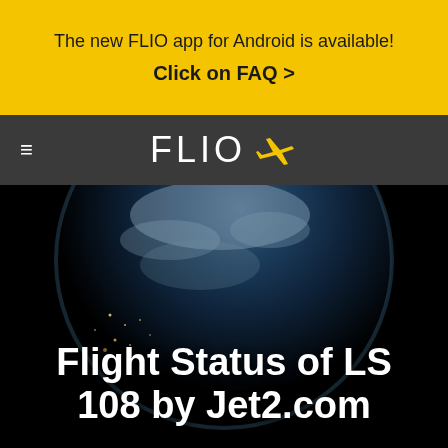The new FLIO app for Android is available!
Click on FAQ >
FLIO ✈
Flight Status of LS 108 by Jet2.com
[Figure (photo): Earth globe viewed from space with city lights, dark background, serving as hero image background]